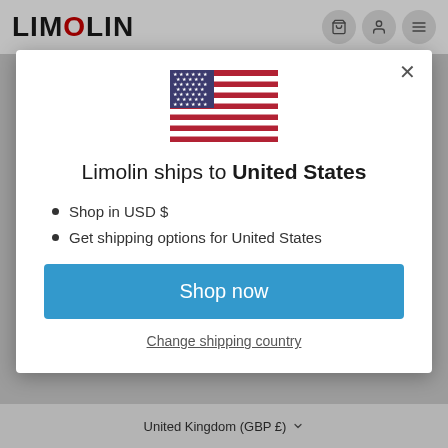[Figure (screenshot): Background website with Limolin logo navigation bar and greyed-out content]
[Figure (screenshot): Modal dialog popup showing US flag, shipping destination message, list items, Shop now button, and Change shipping country link]
Limolin ships to United States
Shop in USD $
Get shipping options for United States
Shop now
Change shipping country
United Kingdom (GBP £)